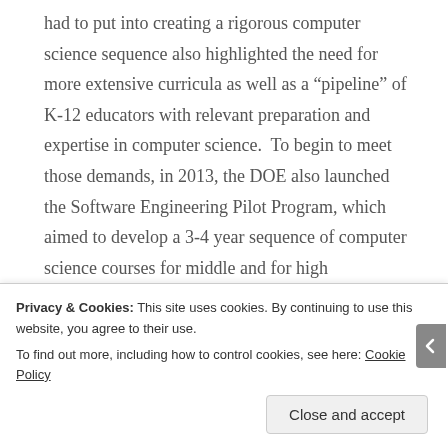had to put into creating a rigorous computer science sequence also highlighted the need for more extensive curricula as well as a “pipeline” of K-12 educators with relevant preparation and expertise in computer science.  To begin to meet those demands, in 2013, the DOE also launched the Software Engineering Pilot Program, which aimed to develop a 3-4 year sequence of computer science courses for middle and for high
Privacy & Cookies: This site uses cookies. By continuing to use this website, you agree to their use.
To find out more, including how to control cookies, see here: Cookie Policy
Close and accept